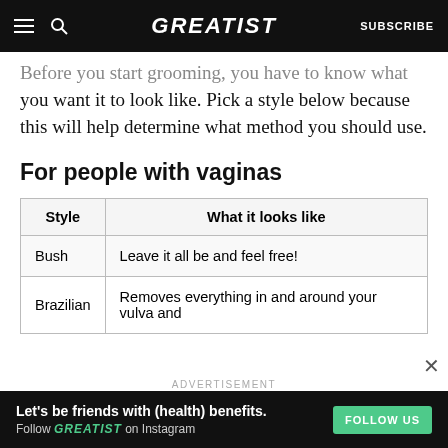GREATIST | SUBSCRIBE
Before you start grooming, you have to know what you want it to look like. Pick a style below because this will help determine what method you should use.
For people with vaginas
| Style | What it looks like |
| --- | --- |
| Bush | Leave it all be and feel free! |
| Brazilian | Removes everything in and around your vulva and |
ADVERTISEMENT | Let's be friends with (health) benefits. Follow GREATIST on Instagram | FOLLOW US